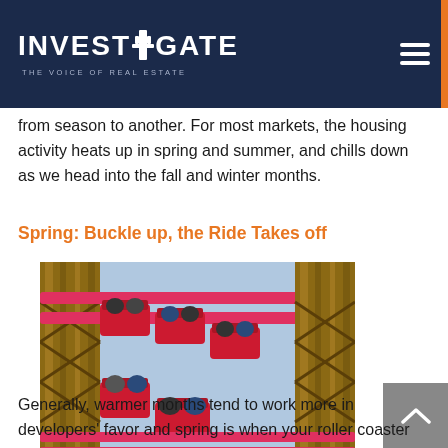INVESTIGATE — THE VOICE OF REAL ESTATE
from season to another. For most markets, the housing activity heats up in spring and summer, and chills down as we head into the fall and winter months.
Spring: Buckle up, the Ride Takes off
[Figure (photo): People riding a roller coaster viewed from behind, ascending a wooden roller coaster track with red cars]
Generally, warmer months tend to work more in developers' favor and spring is when your roller coaster